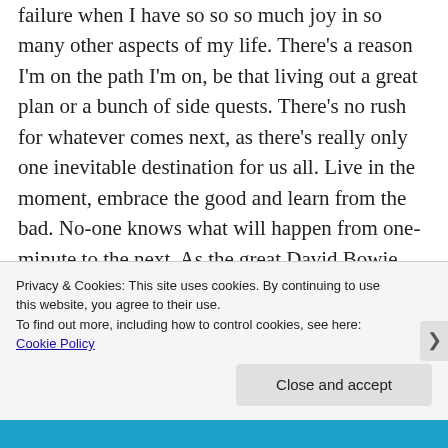failure when I have so so so much joy in so many other aspects of my life. There’s a reason I’m on the path I’m on, be that living out a great plan or a bunch of side quests. There’s no rush for whatever comes next, as there’s really only one inevitable destination for us all. Live in the moment, embrace the good and learn from the bad. No-one knows what will happen from one-minute to the next. As the great David Bowie said, I don’t know where I’m going from here, but I promise it
Privacy & Cookies: This site uses cookies. By continuing to use this website, you agree to their use.
To find out more, including how to control cookies, see here: Cookie Policy
Close and accept